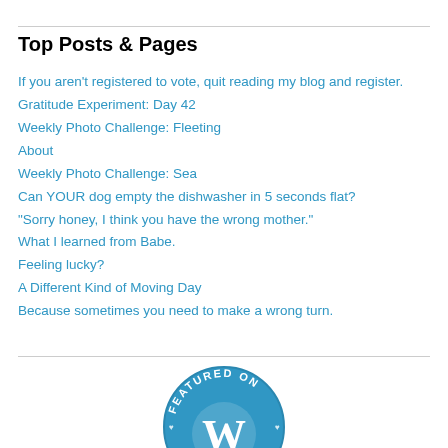Top Posts & Pages
If you aren't registered to vote, quit reading my blog and register.
Gratitude Experiment: Day 42
Weekly Photo Challenge: Fleeting
About
Weekly Photo Challenge: Sea
Can YOUR dog empty the dishwasher in 5 seconds flat?
"Sorry honey, I think you have the wrong mother."
What I learned from Babe.
Feeling lucky?
A Different Kind of Moving Day
Because sometimes you need to make a wrong turn.
[Figure (logo): WordPress 'Featured On' badge — circular blue badge with 'FEATURED ON' text and WordPress logo (W) in white]